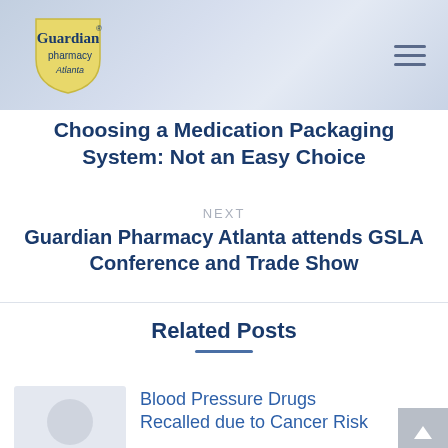[Figure (logo): Guardian Pharmacy Atlanta logo with shield and text]
Choosing a Medication Packaging System: Not an Easy Choice
NEXT
Guardian Pharmacy Atlanta attends GSLA Conference and Trade Show
Related Posts
Blood Pressure Drugs Recalled due to Cancer Risk